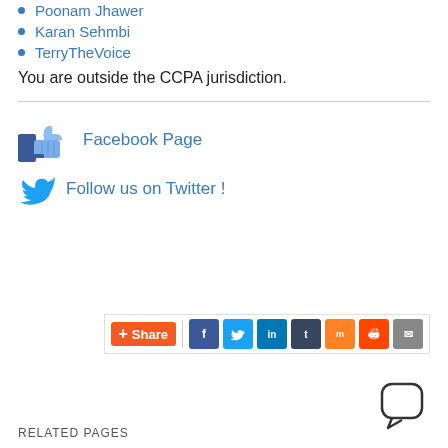Poonam Jhawer
Karan Sehmbi
TerryTheVoice
You are outside the CCPA jurisdiction.
[Figure (logo): Facebook thumbs-up like icon with text 'Facebook Page']
[Figure (logo): Twitter bird icon with text 'Follow us on Twitter !']
[Figure (infographic): Share bar with social media icons: Facebook, Twitter, LinkedIn, Tumblr, Mix, Reddit, Email]
[Figure (illustration): Chat bubble / speech balloon icon]
RELATED PAGES